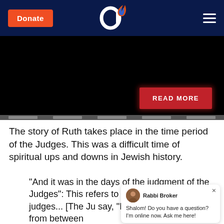Donate | Aish.com logo | Menu
[Figure (photo): Dark/black hero image with a red READ MORE button in the bottom right corner and a slideshow navigation strip at the bottom.]
The story of Ruth takes place in the time period of the Judges. This was a difficult time of spiritual ups and downs in Jewish history.
"And it was in the days of the judgment of the Judges": This refers to a ge judged its own judges... [The Ju say, "Remove the toothpick from between